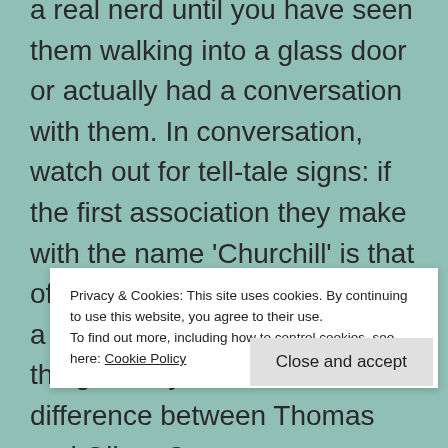a real nerd until you have seen them walking into a glass door or actually had a conversation with them. In conversation, watch out for tell-tale signs: if the first association they make with the name 'Churchill' is that of a nodding dog in the back of a car, they might not be the real thing. If they can tell the difference between Thomas and Oliver C...
Privacy & Cookies: This site uses cookies. By continuing to use this website, you agree to their use.
To find out more, including how to control cookies, see here: Cookie Policy
Close and accept